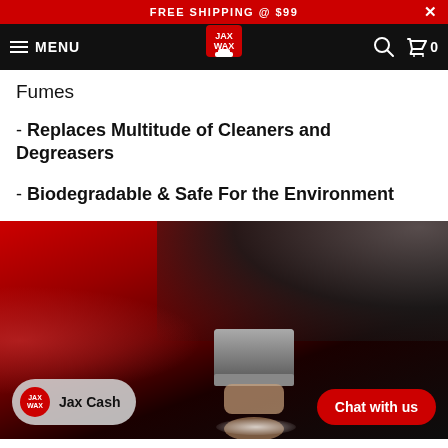FREE SHIPPING @ $99
MENU — JAX WAX logo — Search — Cart 0
Fumes
- Replaces Multitude of Cleaners and Degreasers
- Biodegradable & Safe For the Environment
[Figure (photo): Person using a sanding/polishing block on a red car surface, dark atmospheric background]
Jax Cash
Chat with us